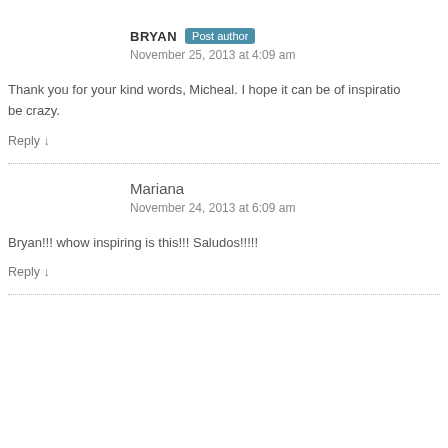BRYAN  Post author
November 25, 2013 at 4:09 am
Thank you for your kind words, Micheal. I hope it can be of inspiratio… be crazy.
Reply ↓
Mariana
November 24, 2013 at 6:09 am
Bryan!!! whow inspiring is this!!! Saludos!!!!!
Reply ↓